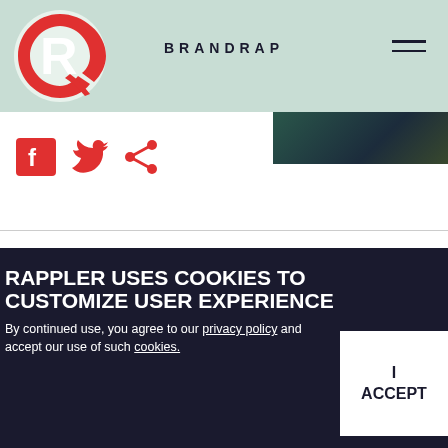BRANDRAP
[Figure (logo): Rappler red R logo on mint/teal header background]
[Figure (photo): Partial image visible at top right]
[Figure (infographic): Social share icons: Facebook, Twitter, Share (red)]
MORE ON #BRANDRAP
RAPPLER USES COOKIES TO CUSTOMIZE USER EXPERIENCE
By continued use, you agree to our privacy policy and accept our use of such cookies.
I ACCEPT